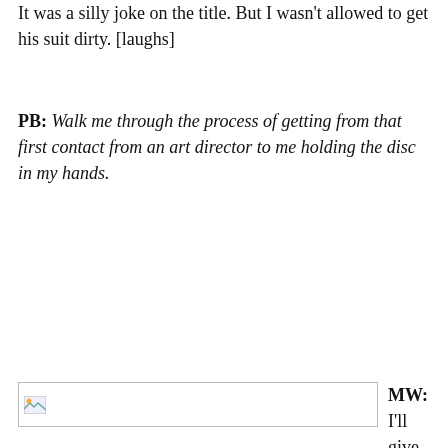It was a silly joke on the title. But I wasn't allowed to get his suit dirty. [laughs]
PB: Walk me through the process of getting from that first contact from an art director to me holding the disc in my hands.
[Figure (photo): A small image placeholder with a landscape icon in the upper left corner, bordered by a thin rectangle]
MW: I'll give you a specific example, a best-case scenario. I do a lot of work with Nonesuch